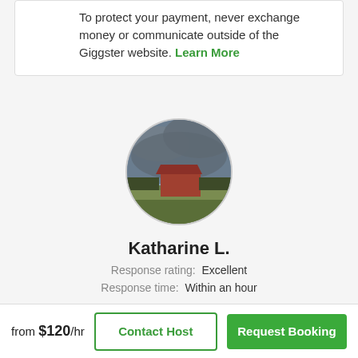To protect your payment, never exchange money or communicate outside of the Giggster website. Learn More
[Figure (photo): Circular profile photo showing a rural barn with red roof under a cloudy grey sky]
Katharine L.
Response rating: Excellent
Response time: Within an hour
from $120/hr
Contact Host
Request Booking